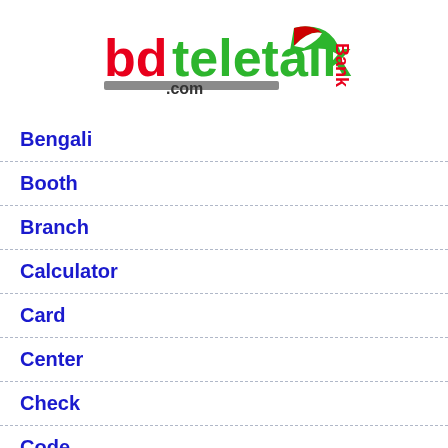[Figure (logo): bdteletalk Bank logo with red 'bd', green 'teletalk', gray bar, '.com' text, green swoosh graphic, and red 'Bank' text on the right]
Bengali
Booth
Branch
Calculator
Card
Center
Check
Code
Company
D...